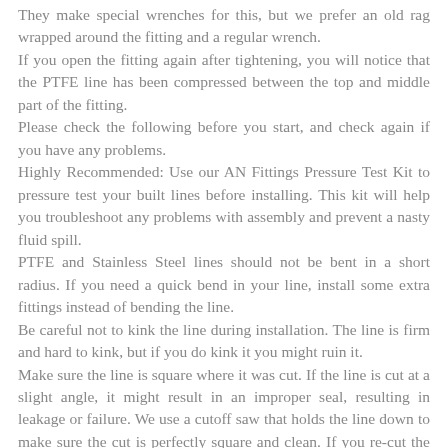They make special wrenches for this, but we prefer an old rag wrapped around the fitting and a regular wrench.
If you open the fitting again after tightening, you will notice that the PTFE line has been compressed between the top and middle part of the fitting.
Please check the following before you start, and check again if you have any problems.
Highly Recommended: Use our AN Fittings Pressure Test Kit to pressure test your built lines before installing. This kit will help you troubleshoot any problems with assembly and prevent a nasty fluid spill.
PTFE and Stainless Steel lines should not be bent in a short radius. If you need a quick bend in your line, install some extra fittings instead of bending the line.
Be careful not to kink the line during installation. The line is firm and hard to kink, but if you do kink it you might ruin it.
Make sure the line is square where it was cut. If the line is cut at a slight angle, it might result in an improper seal, resulting in leakage or failure. We use a cutoff saw that holds the line down to make sure the cut is perfectly square and clean. If you re-cut the line, make sure it's square.
Make sure you don't get any of the stainless steel braids caught up in the threads. If you get any steel in the threads, it will prevent